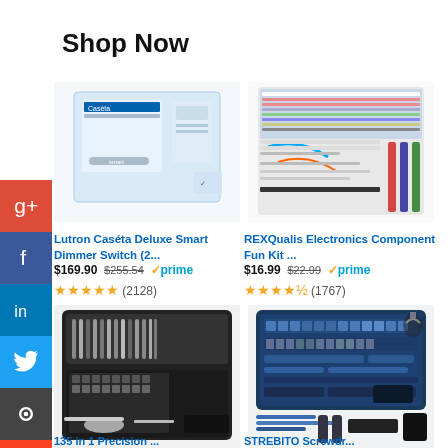Shop Now
[Figure (photo): Lutron Caséta Deluxe Smart Dimmer Switch product box image]
Lutron Caséta Deluxe Smart Dimmer Switch (2...
$169.90  $255.54  ✓prime
★★★★★ (2128)
[Figure (photo): REXQualis Electronics Component Fun Kit product image]
REXQualis Electronics Component Fun Kit ...
$16.99  $22.99  ✓prime
★★★★☆ (1767)
[Figure (photo): 135 in 1 Precision screwdriver kit in case]
135 in 1 Precision ...
[Figure (photo): STREBITO Screwdriver set in blue case]